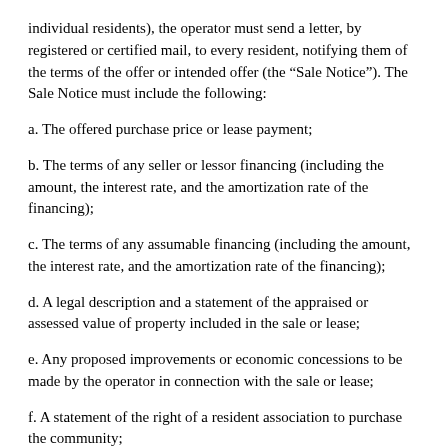individual residents), the operator must send a letter, by registered or certified mail, to every resident, notifying them of the terms of the offer or intended offer (the “Sale Notice”). The Sale Notice must include the following:
a. The offered purchase price or lease payment;
b. The terms of any seller or lessor financing (including the amount, the interest rate, and the amortization rate of the financing);
c. The terms of any assumable financing (including the amount, the interest rate, and the amortization rate of the financing);
d. A legal description and a statement of the appraised or assessed value of property included in the sale or lease;
e. Any proposed improvements or economic concessions to be made by the operator in connection with the sale or lease;
f. A statement of the right of a resident association to purchase the community;